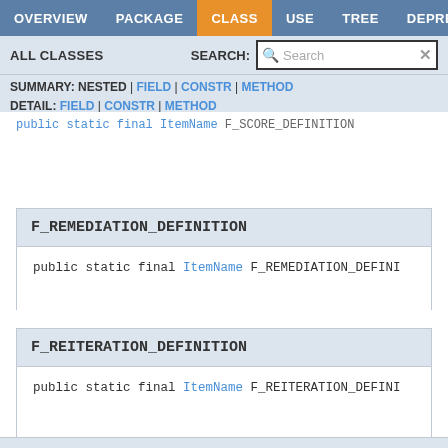OVERVIEW | PACKAGE | CLASS | USE | TREE | DEPRECATED
ALL CLASSES   SEARCH:
SUMMARY: NESTED | FIELD | CONSTR | METHOD  DETAIL: FIELD | CONSTR | METHOD
public static final ItemName F_SCORE_DEFINITION
F_REMEDIATION_DEFINITION
public static final ItemName F_REMEDIATION_DEFINI
F_REITERATION_DEFINITION
public static final ItemName F_REITERATION_DEFINI